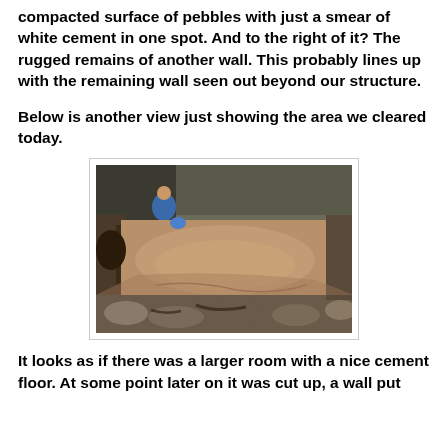compacted surface of pebbles with just a smear of white cement in one spot.  And to the right of it?  The rugged remains of another wall. This probably lines up with the remaining wall seen out beyond our structure.
Below is another view just showing the area we cleared today.
[Figure (photo): Photograph of an archaeological excavation site showing a cleared area with compacted dirt floor, rocky walls, and a person in a blue jacket crouching in the background among rocks and sparse vegetation.]
It looks as if there was a larger room with a nice cement floor.  At some point later on it was cut up, a wall put